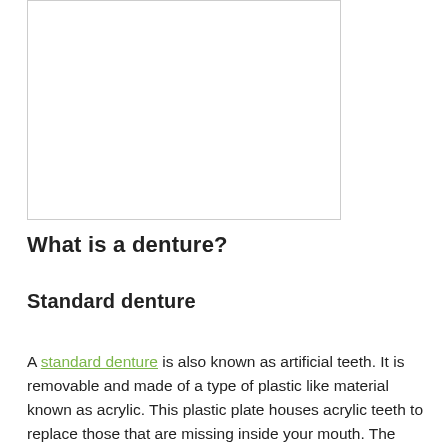[Figure (photo): Empty white image placeholder with a light gray border, representing a photo area for a denture image.]
What is a denture?
Standard denture
A standard denture is also known as artificial teeth. It is removable and made of a type of plastic like material known as acrylic. This plastic plate houses acrylic teeth to replace those that are missing inside your mouth. The plate is pink to mimic your gums and the acrylic teeth are chosen to suit the